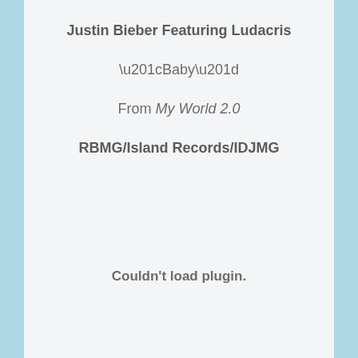Justin Bieber Featuring Ludacris
“Baby”
From My World 2.0
RBMG/Island Records/IDJMG
Couldn't load plugin.